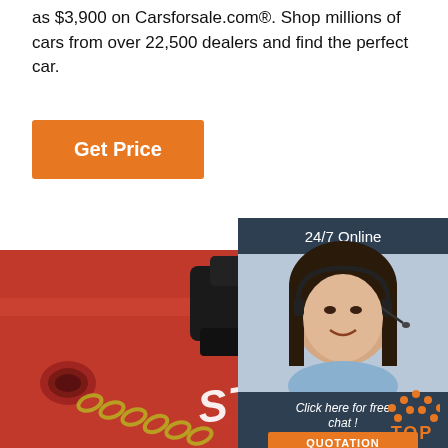as $3,900 on Carsforsale.com®. Shop millions of cars from over 22,500 dealers and find the perfect car.
Get Price
[Figure (photo): 24/7 Online customer service representative with headset, smiling, with 'Click here for free chat!' text and QUOTATION button]
[Figure (photo): Close-up photo of a red metal rail/tie-down device labeled ST-158 with black clamp and chain]
[Figure (infographic): TOP badge with orange triangle/chevron icon and orange TOP text]